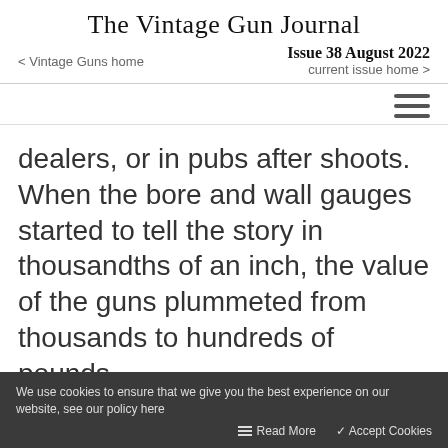The Vintage Gun Journal
Issue 38 August 2022
< Vintage Guns home
current issue home >
dealers, or in pubs after shoots. When the bore and wall gauges started to tell the story in thousandths of an inch, the value of the guns plummeted from thousands to hundreds of pounds.
We use cookies to ensure that we give you the best experience on our website, see our policy here   Read More   ✓ Accept Cookies